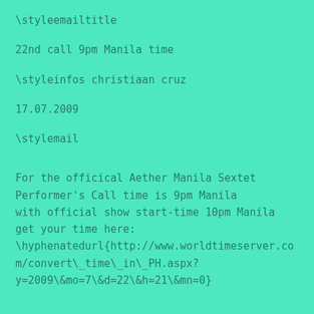\styleemailtitle
22nd call 9pm Manila time
\styleinfos christiaan cruz
17.07.2009
\stylemail
For the officical Aether Manila Sextet Performer's Call time is 9pm Manila with official show start-time 10pm Manila get your time here: \hyphenatedurl{http://www.worldtimeserver.com/convert\_time\_in\_PH.aspx?y=2009\&mo=7\&d=22\&h=21\&mn=0}
Confirmed performers are:
Manuel presentation + performance
Paula presentation + performance